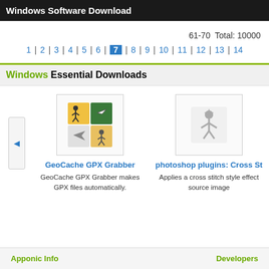Windows Software Download
61-70  Total: 10000
1 | 2 | 3 | 4 | 5 | 6 | 7 | 8 | 9 | 10 | 11 | 12 | 13 | 14
Windows Essential Downloads
[Figure (screenshot): GeoCache GPX Grabber application icon showing a 2x2 grid with outdoor/geocaching themed images]
GeoCache GPX Grabber
GeoCache GPX Grabber makes GPX files automatically.
[Figure (screenshot): Photoshop plugins Cross Stitch icon showing a grey figure with star shape]
photoshop plugins: Cross St
Applies a cross stitch style effect source image
Apponic Info    Developers